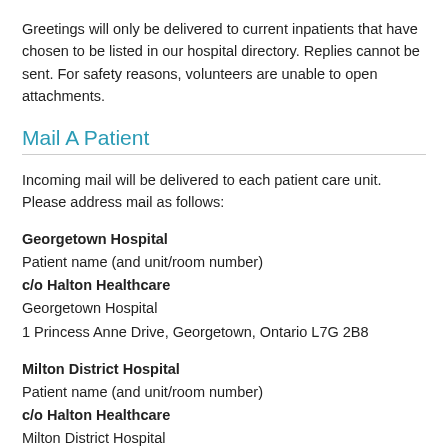Greetings will only be delivered to current inpatients that have chosen to be listed in our hospital directory. Replies cannot be sent. For safety reasons, volunteers are unable to open attachments.
Mail A Patient
Incoming mail will be delivered to each patient care unit. Please address mail as follows:
Georgetown Hospital
Patient name (and unit/room number)
c/o Halton Healthcare
Georgetown Hospital
1 Princess Anne Drive, Georgetown, Ontario L7G 2B8
Milton District Hospital
Patient name (and unit/room number)
c/o Halton Healthcare
Milton District Hospital